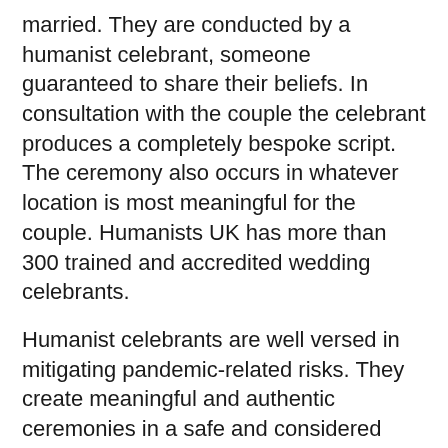married. They are conducted by a humanist celebrant, someone guaranteed to share their beliefs. In consultation with the couple the celebrant produces a completely bespoke script. The ceremony also occurs in whatever location is most meaningful for the couple. Humanists UK has more than 300 trained and accredited wedding celebrants.
Humanist celebrants are well versed in mitigating pandemic-related risks. They create meaningful and authentic ceremonies in a safe and considered way, as is now needed for every event.
Humanist marriages gained legal recognition in Scotland in 2005 and in 2019 there were more humanist than Christian marriages for the first time (23% of the total). In the Republic of Ireland, humanist marriages gained legal recognition in 2012. In 2019 around 9% of legally recognised marriages were humanist. That